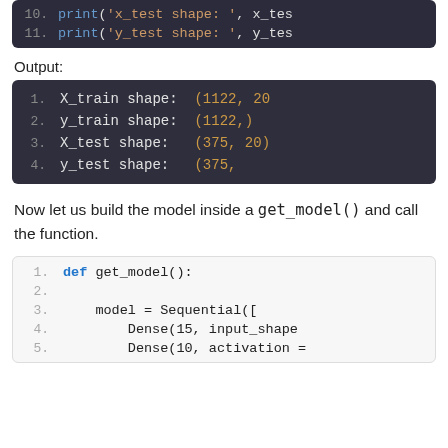[Figure (screenshot): Dark-themed code block (top, partial/cropped) showing lines 10-11 of Python code: print('x_test shape: ', x_test... and print('y_test shape: ', y_test...]
Output:
[Figure (screenshot): Dark-themed terminal output block showing: 1. X_train shape: (1122, 20  2. y_train shape: (1122,)  3. X_test shape: (375, 20)  4. y_test shape: (375,]
Now let us build the model inside a get_model() and call the function.
[Figure (screenshot): Light-themed code block showing Python function definition: 1. def get_model():  2. (blank)  3.     model = Sequential([  4.         Dense(15, input_shape  5.         Dense(10, activation =]